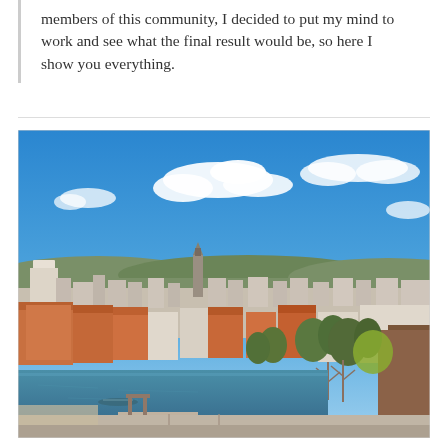members of this community, I decided to put my mind to work and see what the final result would be, so here I show you everything.
[Figure (photo): Aerial/elevated view of a European city (likely Heilbronn, Germany) showing red-roofed buildings, a river with a small bridge/dock, a church tower, green trees, surrounding hills, and a bright blue sky with white clouds.]